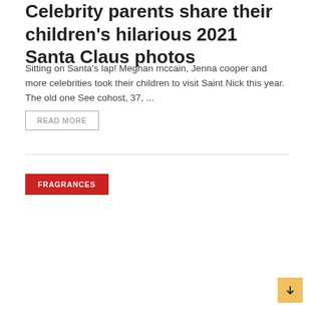Celebrity parents share their children's hilarious 2021 Santa Claus photos
Sitting on Santa's lap! Meghan mccain, Jenna cooper and more celebrities took their children to visit Saint Nick this year. The old one See cohost, 37, ...
READ MORE
FRAGRANCES